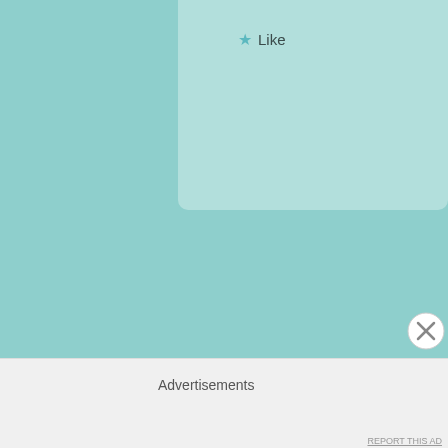Like
Jovina Coughlin
January 16, 2014 at 10:04 pm

Thanks you – cereal bars are a good place t
Like
Advertisements